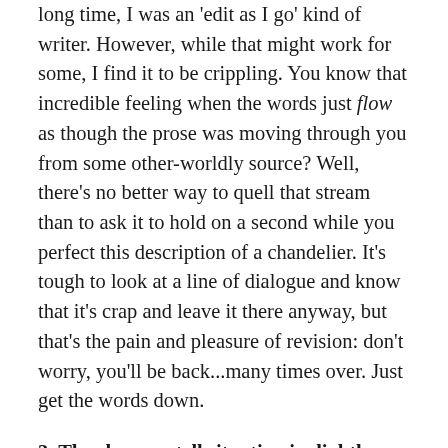long time, I was an 'edit as I go' kind of writer. However, while that might work for some, I find it to be crippling. You know that incredible feeling when the words just flow as though the prose was moving through you from some other-worldly source? Well, there's no better way to quell that stream than to ask it to hold on a second while you perfect this description of a chandelier. It's tough to look at a line of dialogue and know that it's crap and leave it there anyway, but that's the pain and pleasure of revision: don't worry, you'll be back...many times over. Just get the words down.
3. The show vs. tell situation is slightly different for Erotica and Romance writers.
I wish someone had told me this sooner. Somewhere around chapters four and five of